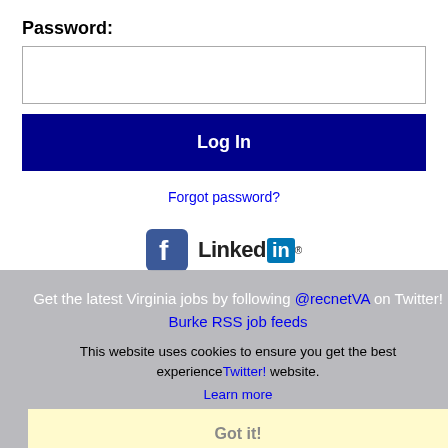Password:
[Figure (screenshot): Password input field (empty text box)]
[Figure (screenshot): Log In button (dark navy blue)]
Forgot password?
[Figure (logo): Facebook logo icon and LinkedIn logo]
Get the latest Virginia jobs by following @recnetVA on Twitter!
Burke RSS job feeds
This website uses cookies to ensure you get the best experience on our website.
Learn more
Got it!